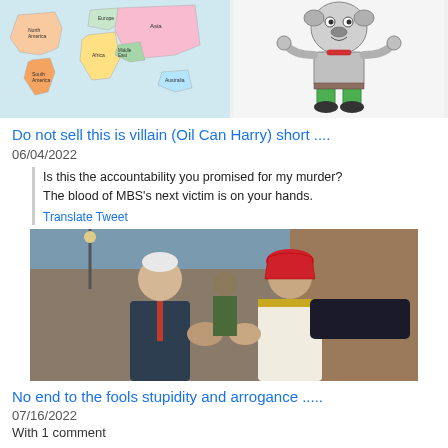[Figure (illustration): Composite image: left half shows a colorful world map with labeled continents (North America, Europe, Asia, South America, Africa, Middle East, Australia); right half shows a cartoon bulldog character dressed in military/soldier clothes flexing muscles aggressively.]
Do not sell this is villain (Oil Can Harry) short ....
06/04/2022
Is this the accountability you promised for my murder? The blood of MBS's next victim is on your hands.
Translate Tweet
[Figure (photo): Photograph of two men doing a fist bump greeting outdoors. Left man is an elderly white-haired man in a dark suit (resembling President Biden). Right man is wearing traditional Saudi white thobe and red-checkered keffiyeh headdress. A military officer in green uniform salutes in the background.]
No end to the fools stupidity and arrogance .....
07/16/2022
With 1 comment